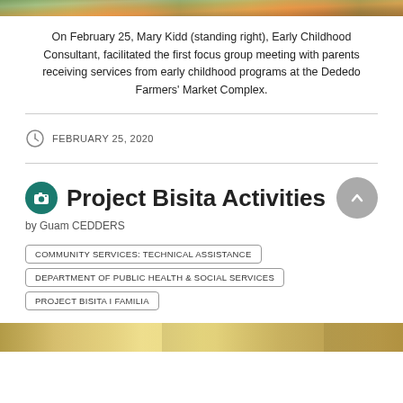[Figure (photo): Top strip of a photo showing people at an event, partially cropped]
On February 25, Mary Kidd (standing right), Early Childhood Consultant, facilitated the first focus group meeting with parents receiving services from early childhood programs at the Dededo Farmers' Market Complex.
FEBRUARY 25, 2020
Project Bisita Activities
by Guam CEDDERS
COMMUNITY SERVICES: TECHNICAL ASSISTANCE
DEPARTMENT OF PUBLIC HEALTH & SOCIAL SERVICES
PROJECT BISITA I FAMILIA
[Figure (photo): Bottom strip of a photo, partially visible at the bottom of the page]